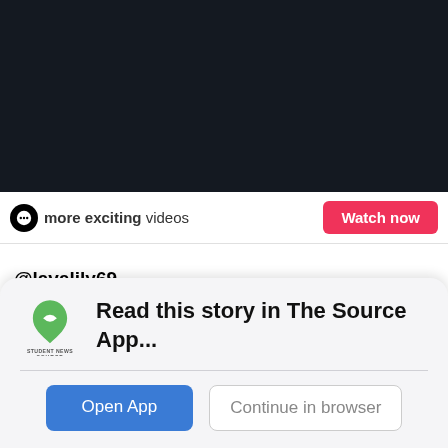[Figure (screenshot): Dark/black video player area from a TikTok embed]
more exciting videos  Watch now
@lavalily69
my friends r hot make this viral plz #fyp #glowup #girls #TooSickToBeSi …See more
That glow up hit @lavalily69 ('23) and friends like a truck
Read this story in The Source App...
Open App   Continue in browser